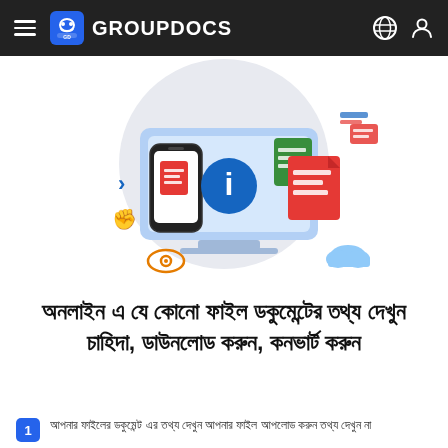GROUPDOCS
[Figure (illustration): GroupDocs hero illustration showing a laptop screen with document icons, a smartphone with document icon, an information circle icon, and floating document graphics on a light grey circular background. Decorative icons including an eye, cloud, arrow symbols, and text-editor icons surround the main graphic.]
অনলাইন এ যে কোনো ফাইল ডকুমেন্টের তথ্য দেখুন চাহিদা, ডাউনলোড করুন, কনভার্ট করুন
আপনার ফাইলের ডকুমেন্ট এর তথ্য দেখুন আপনার ফাইল আপলোড করুন তথ্য দেখুন না